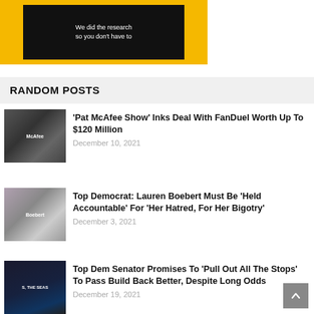[Figure (screenshot): Yellow background image with black inner box containing white text 'We did the research so you don't have to']
RANDOM POSTS
[Figure (photo): Photo of Pat McAfee, a man with a beard wearing a white shirt and headset microphone]
'Pat McAfee Show' Inks Deal With FanDuel Worth Up To $120 Million
December 10, 2021
[Figure (photo): Photo of Lauren Boebert, a woman in a floral dress]
Top Democrat: Lauren Boebert Must Be 'Held Accountable' For 'Her Hatred, For Her Bigotry'
December 3, 2021
[Figure (photo): Photo of the US Capitol building at night with text overlay 'S, THE SEAS']
Top Dem Senator Promises To 'Pull Out All The Stops' To Pass Build Back Better, Despite Long Odds
December 19, 2021